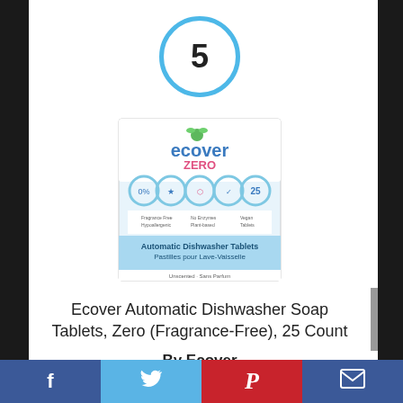[Figure (other): Blue circle with number 5 inside, ranking indicator]
[Figure (photo): Ecover Zero Automatic Dishwasher Tablets product box, 25 count]
Ecover Automatic Dishwasher Soap Tablets, Zero (Fragrance-Free), 25 Count
By Ecover
View Product
7.7
Facebook  Twitter  Pinterest  Email